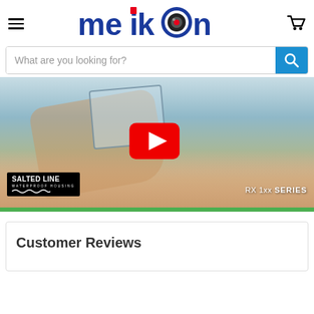[Figure (logo): Meikon camera brand logo with hamburger menu and shopping cart icons in header]
What are you looking for?
[Figure (screenshot): Video thumbnail showing hands holding a waterproof camera housing (Salted Line RX 1xx Series) with a YouTube play button overlay, green bar at bottom]
Customer Reviews